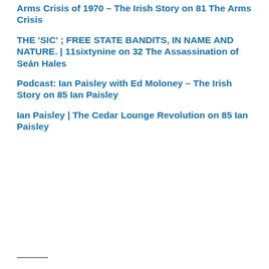Arms Crisis of 1970 – The Irish Story on 81 The Arms Crisis
THE 'SIC' ; FREE STATE BANDITS, IN NAME AND NATURE. | 11sixtynine on 32 The Assassination of Seán Hales
Podcast: Ian Paisley with Ed Moloney – The Irish Story on 85 Ian Paisley
Ian Paisley | The Cedar Lounge Revolution on 85 Ian Paisley
—